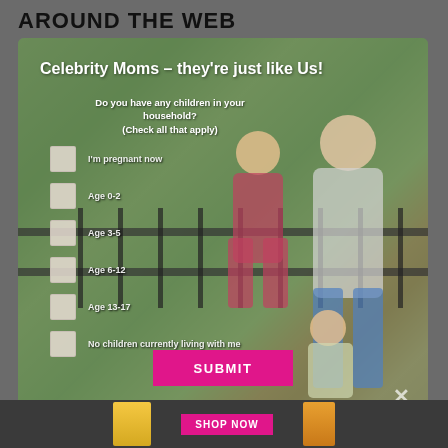AROUND THE WEB
Celebrity Moms – they're just like Us!
Do you have any children in your household? (Check all that apply)
I'm pregnant now
Age 0-2
Age 3-5
Age 6-12
Age 13-17
No children currently living with me
SUBMIT
[Figure (photo): Woman holding two children outdoors near a railing with green foliage in background]
SHOP NOW